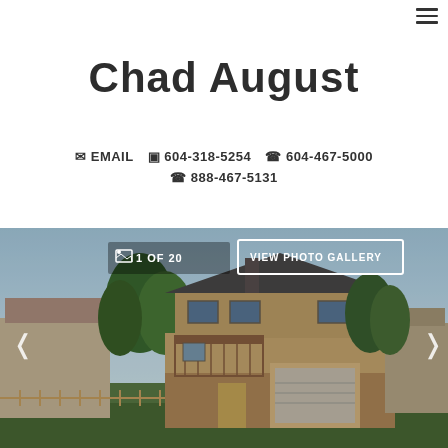Menu/hamburger icon
Chad August
✉ EMAIL  □ 604-318-5254  ☎ 604-467-5000  ☎ 888-467-5131
[Figure (photo): Exterior photo of a two-storey residential house with brick facade, garage, balcony, and trees in background. Photo gallery overlay showing '1 OF 20' and 'VIEW PHOTO GALLERY' button with left/right navigation arrows.]